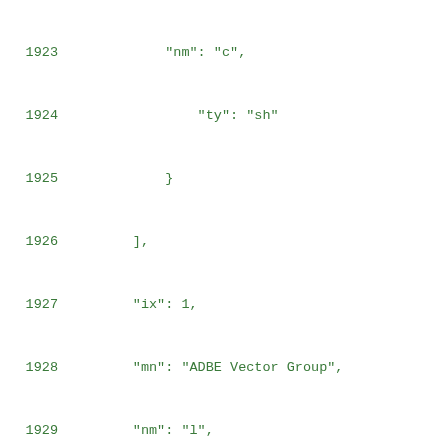1923    "nm": "c",
1924        "ty": "sh"
1925    }
1926    ],
1927    "ix": 1,
1928    "mn": "ADBE Vector Group",
1929    "nm": "l",
1930    "np": 3,
1931    "ty": "gr"
1932    }
1933    ]
1934    },
1935    "fFamily": "Roboto",
1936    "size": 38,
1937    "style": "Medium",
1938    "w": 25.54
1939    },
1940    {
1941    "ch": "n",
1942    "data": {
1943    "shapes": [
1944    {